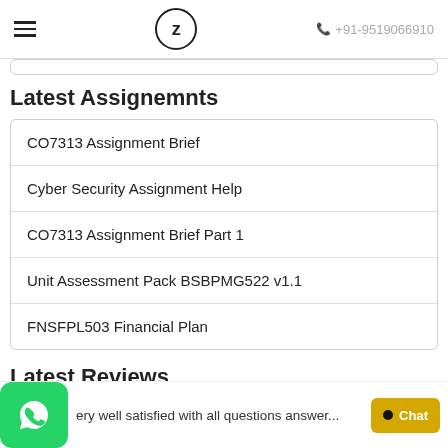Z +91-9519066910
Latest Assignemnts
CO7313 Assignment Brief
Cyber Security Assignment Help
CO7313 Assignment Brief Part 1
Unit Assessment Pack BSBPMG522 v1.1
FNSFPL503 Financial Plan
Latest Reviews
ery well satisfied with all questions answer...